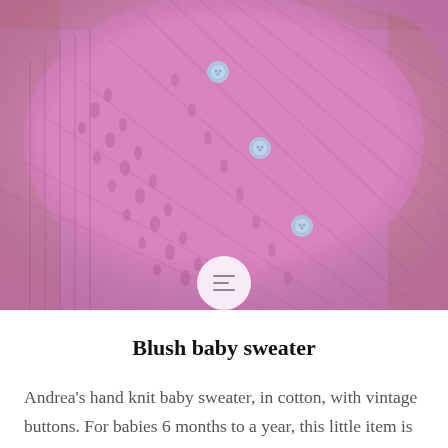[Figure (photo): Close-up photograph of a pink hand-knit baby sweater with lace pattern and small blue vintage buttons, laid flat on a wooden surface.]
Blush baby sweater
Andrea's hand knit baby sweater, in cotton, with vintage buttons. For babies 6 months to a year, this little item is